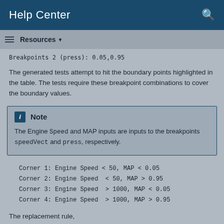Help Center
Breakpoints 2 (press): 0.05,0.95
The generated tests attempt to hit the boundary points highlighted in the table. The tests require these breakpoint combinations to cover the boundary values.
Note
The Engine Speed and MAP inputs are inputs to the breakpoints speedVect and press, respectively.
Corner 1: Engine Speed < 50, MAP < 0.05
Corner 2: Engine Speed  < 50, MAP > 0.95
Corner 3: Engine Speed  > 1000, MAP < 0.05
Corner 4: Engine Speed  > 1000, MAP > 0.95
The replacement rule, InstrumentLUTForCornerValueCoverage is shipped with